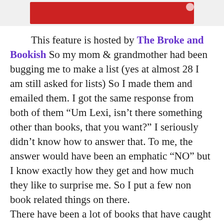[Figure (illustration): Red banner/header image for a blog feature, partially visible at the top of the page with a red background bar.]
This feature is hosted by The Broke and Bookish So my mom & grandmother had been bugging me to make a list (yes at almost 28 I am still asked for lists) So I made them and emailed them. I got the same response from both of them "Um Lexi, isn’t there something other than books, that you want?" I seriously didn’t know how to answer that. To me, the answer would have been an emphatic “NO” but I know exactly how they get and how much they like to surprise me. So I put a few non book related things on there.
There have been a lot of books that have caught my eye over the past 8 months or whatever. Even more so than normal and I can thank my fellow bibliophiles for that.So these ten books are a compilation of books that either look amazing, or